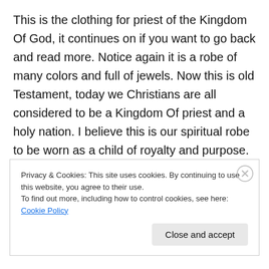This is the clothing for priest of the Kingdom Of God, it continues on if you want to go back and read more. Notice again it is a robe of many colors and full of jewels. Now this is old Testament, today we Christians are all considered to be a Kingdom Of priest and a holy nation. I believe this is our spiritual robe to be worn as a child of royalty and purpose. The anointed of God. This spiritual robe is Gods presence which if you remember it is that of a rainbow in the clouds. His presence is on us like a cloud, a consuming fire of glowing metal, a rainbow in the clouds
Privacy & Cookies: This site uses cookies. By continuing to use this website, you agree to their use.
To find out more, including how to control cookies, see here: Cookie Policy
Close and accept